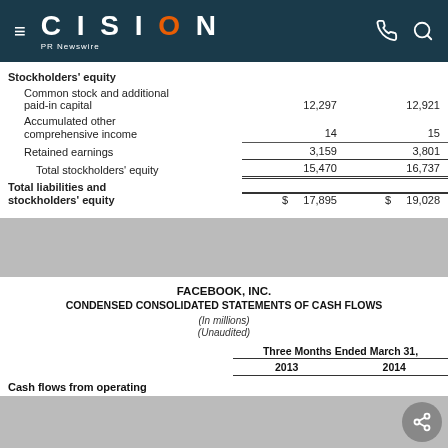CISION PR Newswire
|  |  |  |
| --- | --- | --- |
| Stockholders' equity |  |  |
| Common stock and additional paid-in capital | 12,297 | 12,921 |
| Accumulated other comprehensive income | 14 | 15 |
| Retained earnings | 3,159 | 3,801 |
| Total stockholders' equity | 15,470 | 16,737 |
| Total liabilities and stockholders' equity | $ 17,895 | $ 19,028 |
FACEBOOK, INC.
CONDENSED CONSOLIDATED STATEMENTS OF CASH FLOWS
(In millions)
(Unaudited)
Three Months Ended March 31,
|  | 2013 | 2014 |
| --- | --- | --- |
Cash flows from operating